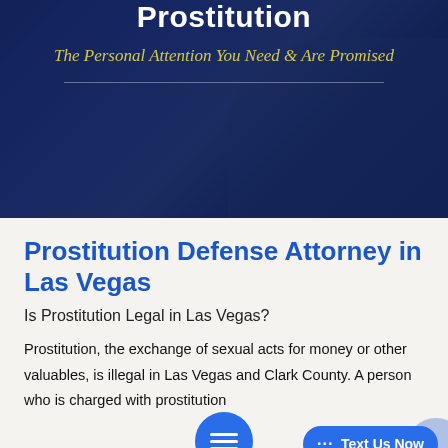[Figure (photo): Dark blue-tinted hero banner with a background suggesting legal setting (gavel, pen, papers). Contains overlay text.]
Prostitution
The Personal Attention You Need & Are Promised
Prostitution Defense Attorney in Las Vegas
Is Prostitution Legal in Las Vegas?
Prostitution, the exchange of sexual acts for money or other valuables, is illegal in Las Vegas and Clark County. A person who is charged with prostitution